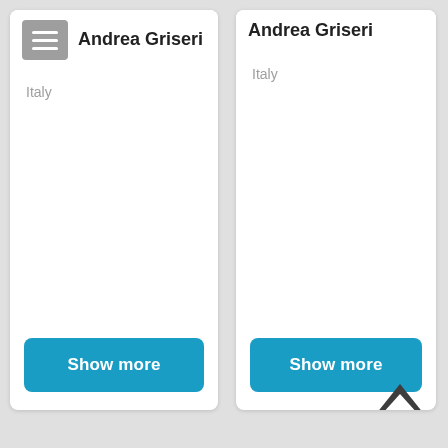[Figure (screenshot): Left profile card showing 'Andrea Griseri' with a hamburger menu button icon, 'Italy' text, and a 'Show more' blue button]
[Figure (screenshot): Right profile card showing 'Andrea Griseri', 'Italy' text, a 'Show more' blue button, and an up-arrow/caret icon below the button]